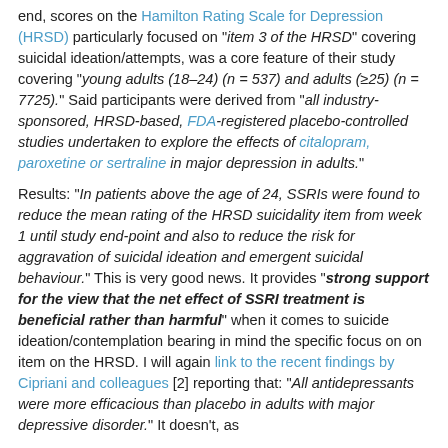end, scores on the Hamilton Rating Scale for Depression (HRSD) particularly focused on "item 3 of the HRSD" covering suicidal ideation/attempts, was a core feature of their study covering "young adults (18–24) (n = 537) and adults (≥25) (n = 7725)." Said participants were derived from "all industry-sponsored, HRSD-based, FDA-registered placebo-controlled studies undertaken to explore the effects of citalopram, paroxetine or sertraline in major depression in adults."
Results: "In patients above the age of 24, SSRIs were found to reduce the mean rating of the HRSD suicidality item from week 1 until study end-point and also to reduce the risk for aggravation of suicidal ideation and emergent suicidal behaviour." This is very good news. It provides "strong support for the view that the net effect of SSRI treatment is beneficial rather than harmful" when it comes to suicide ideation/contemplation bearing in mind the specific focus on on item on the HRSD. I will again link to the recent findings by Cipriani and colleagues [2] reporting that: "All antidepressants were more efficacious than placebo in adults with major depressive disorder." It doesn't, as